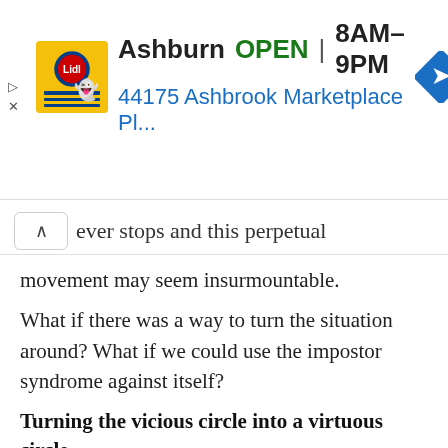[Figure (screenshot): Advertisement banner for Lidl store in Ashburn showing store logo, OPEN status, hours 8AM-9PM, and address 44175 Ashbrook Marketplace Pl..., with a blue navigation arrow icon on the right.]
ever stops and this perpetual movement may seem insurmountable.
What if there was a way to turn the situation around? What if we could use the impostor syndrome against itself?
Turning the vicious circle into a virtuous circle.
It is possible and that is personally what I have been doing for a long time. To do so, the change must be internal. And it makes sense that the real solution